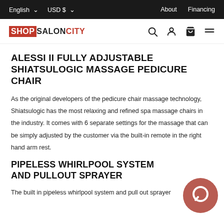English  USD $  About  Financing
[Figure (logo): ShopSalonCity logo with red SHOP text and black SALON red CITY text, plus navigation icons: search, account, cart, menu]
ALESSI II FULLY ADJUSTABLE SHIATSULOGIC MASSAGE PEDICURE CHAIR
As the original developers of the pedicure chair massage technology, Shiatsulogic has the most relaxing and refined spa massage chairs in the industry. It comes with 6 separate settings for the massage that can be simply adjusted by the customer via the built-in remote in the right hand arm rest.
PIPELESS WHIRLPOOL SYSTEM AND PULLOUT SPRAYER
The built in pipeless whirlpool system and pull out sprayer